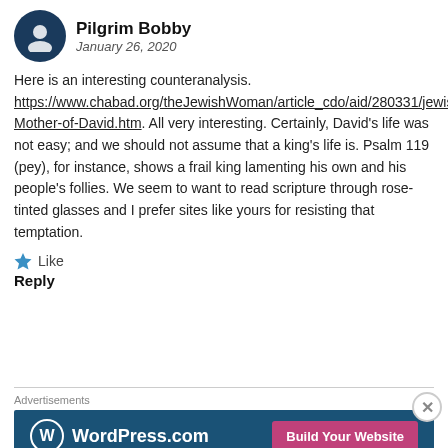Pilgrim Bobby
January 26, 2020
Here is an interesting counteranalysis. https://www.chabad.org/theJewishWoman/article_cdo/aid/280331/jewis Mother-of-David.htm. All very interesting. Certainly, David’s life was not easy; and we should not assume that a king’s life is. Psalm 119 (pey), for instance, shows a frail king lamenting his own and his people’s follies. We seem to want to read scripture through rose-tinted glasses and I prefer sites like yours for resisting that temptation.
Like
Reply
Dean Smith
January 26, 2020
Advertisements
[Figure (screenshot): WordPress.com advertisement banner with blue background, WordPress logo and 'Build Your Website' pink button]